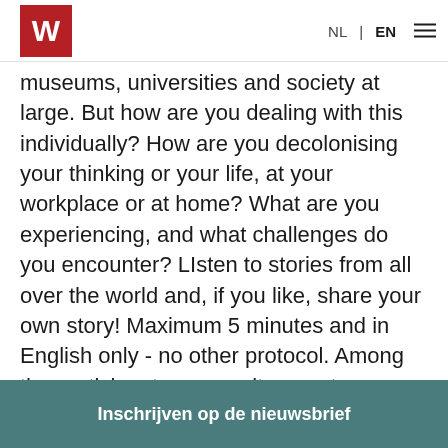W | NL | EN
museums, universities and society at large. But how are you dealing with this individually? How are you decolonising your thinking or your life, at your workplace or at home? What are you experiencing, and what challenges do you encounter? LIsten to stories from all over the world and, if you like, share your own story! Maximum 5 minutes and in English only - no other protocol. Among the participants were writer, poet, essayist and literary scholar Mukoma Wa Ngũgĩ - who was born in the U... Azaizeh...
Inschrijven op de nieuwsbrief